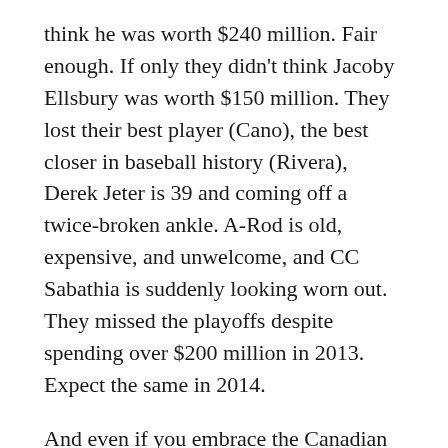think he was worth $240 million. Fair enough. If only they didn't think Jacoby Ellsbury was worth $150 million. They lost their best player (Cano), the best closer in baseball history (Rivera), Derek Jeter is 39 and coming off a twice-broken ankle. A-Rod is old, expensive, and unwelcome, and CC Sabathia is suddenly looking worn out. They missed the playoffs despite spending over $200 million in 2013. Expect the same in 2014.
And even if you embrace the Canadian pastime in America - hockey, where it seems every other player is named Perrier or Lemieux or some French derivation with too many silent consonants - our three locals are wretched. That would be the Rangers, Islanders, and Devils for the record, who are a combined 39-51-15